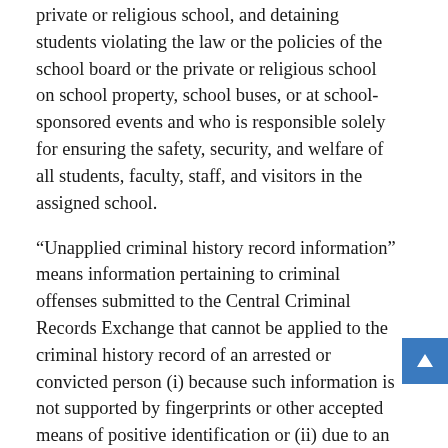private or religious school, and detaining students violating the law or the policies of the school board or the private or religious school on school property, school buses, or at school-sponsored events and who is responsible solely for ensuring the safety, security, and welfare of all students, faculty, staff, and visitors in the assigned school.
"Unapplied criminal history record information" means information pertaining to criminal offenses submitted to the Central Criminal Records Exchange that cannot be applied to the criminal history record of an arrested or convicted person (i) because such information is not supported by fingerprints or other accepted means of positive identification or (ii) due to an inconsistency, error, or omission within the content of the submitted information.
1981, c. 632, § 9-169; 1982, c. 419; 1983, c. 357; 1984, c. 543; 1989, c. 233; 1991, c. 338; 1992, cc. 422, 569; 1993, cc. 533, 622, 866; 2000, c. 426; 2001, c. 844; 2002, cc.